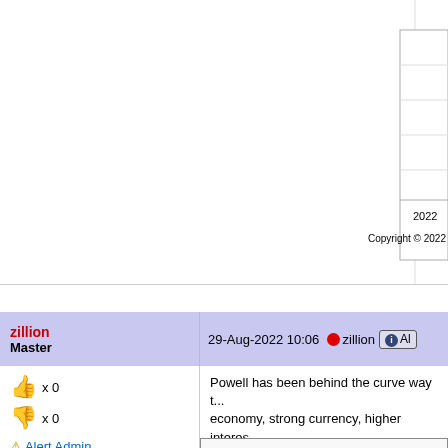[Figure (continuous-plot): Cropped/partial financial chart showing gridlines and '2022' x-axis label with 'Copyright © 2022' text at bottom right]
zillion Master | 29-Aug-2022 10:06 | zillion | Alert
x 0 (thumbs up) x 0 (thumbs down) Alert Admin
Powell has been behind the curve way t... economy, strong currency, higher interes...
TikTalk ( Date: 28-Aug-202... Jackson Hole - " The tongue... The written word/speech is n... Stock market rallied after th... speech by J Powell is as go... to the Fed Funds. 🤨 I mea... and how much they are goin... and the way he phrase it the... If he is so hawkist, will they ... 50bps the next one, therefor... does this speech means? N... Will see. Anyway just pen d...